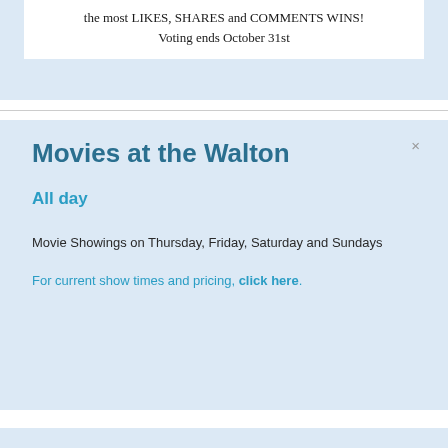the most LIKES, SHARES and COMMENTS WINS!
Voting ends October 31st
Movies at the Walton
All day
Movie Showings on Thursday, Friday, Saturday and Sundays
For current show times and pricing, click here.
1st Annual Pumpkin Decorating